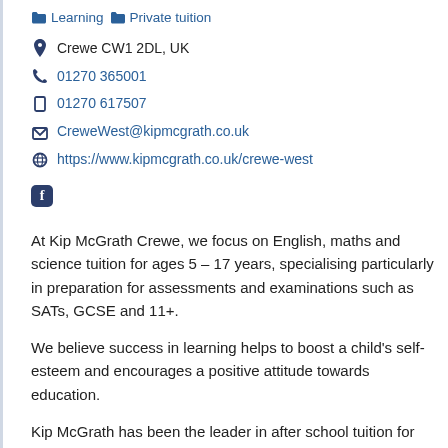Learning  Private tuition
Crewe CW1 2DL, UK
01270 365001
01270 617507
CreweWest@kipmcgrath.co.uk
https://www.kipmcgrath.co.uk/crewe-west
Facebook icon
At Kip McGrath Crewe, we focus on English, maths and science tuition for ages 5 – 17 years, specialising particularly in preparation for assessments and examinations such as SATs, GCSE and 11+.
We believe success in learning helps to boost a child's self- esteem and encourages a positive attitude towards education.
Kip McGrath has been the leader in after school tuition for 40 years, focusing on English, reading, spelling, comprehension and maths, for primary